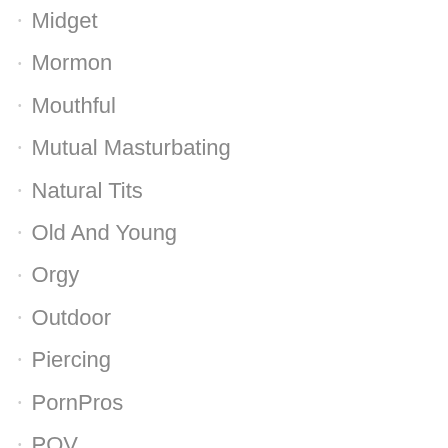Midget
Mormon
Mouthful
Mutual Masturbating
Natural Tits
Old And Young
Orgy
Outdoor
Piercing
PornPros
POV
Pregnant